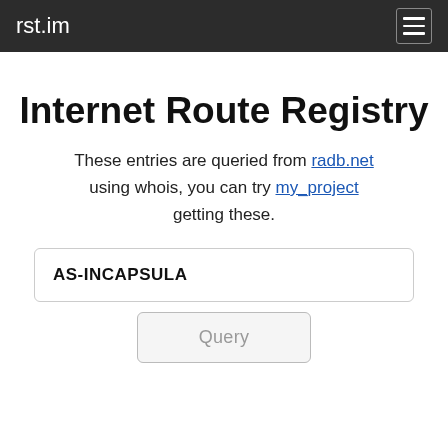rst.im
Internet Route Registry
These entries are queried from radb.net using whois, you can try my_project getting these.
AS-INCAPSULA
Query